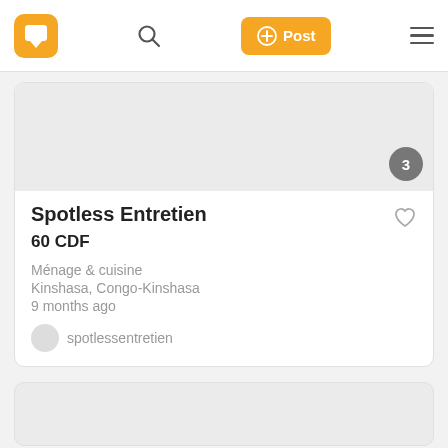Spotless Entretien app navigation bar with logo, search icon, Post button, and hamburger menu
[Figure (screenshot): App listing card for Spotless Entretien showing image placeholder with badge '3', title, price, category, location, date, and username]
Spotless Entretien
60 CDF
Ménage & cuisine
Kinshasa, Congo-Kinshasa
9 months ago
spotlessentretien
[Figure (screenshot): Partial second listing card at bottom of page, showing only an image placeholder area]